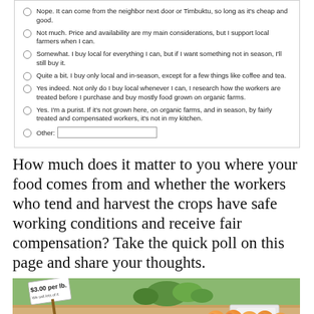Nope. It can come from the neighbor next door or Timbuktu, so long as it's cheap and good.
Not much. Price and availability are my main considerations, but I support local farmers when I can.
Somewhat. I buy local for everything I can, but if I want something not in season, I'll still buy it.
Quite a bit. I buy only local and in-season, except for a few things like coffee and tea.
Yes indeed. Not only do I buy local whenever I can, I research how the workers are treated before I purchase and buy mostly food grown on organic farms.
Yes. I'm a purist. If it's not grown here, on organic farms, and in season, by fairly treated and compensated workers, it's not in my kitchen.
Other:
How much does it matter to you where your food comes from and whether the workers who tend and harvest the crops have safe working conditions and receive fair compensation? Take the quick poll on this page and share your thoughts.
[Figure (photo): Photo of a farmers market stall with a '$3.00 per lb.' price sign and fresh peaches/fruit displayed in the foreground, with green plants in the background.]